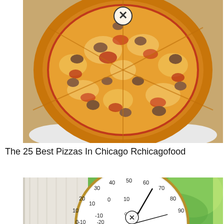[Figure (photo): Overhead view of a whole pizza with melted cheese, tomato sauce, and sausage toppings in a cardboard delivery box. A circular close/remove icon (X in a circle) is overlaid near the top center.]
The 25 Best Pizzas In Chicago Rchicagofood
[Figure (photo): Close-up of a round analog thermometer/gauge showing scale markings from -20 to 90, with brand name 'conant' visible. The gauge is set against a green blurred background and a white wood panel on the left. A circular close/remove icon (X in a circle) is overlaid near the bottom center.]